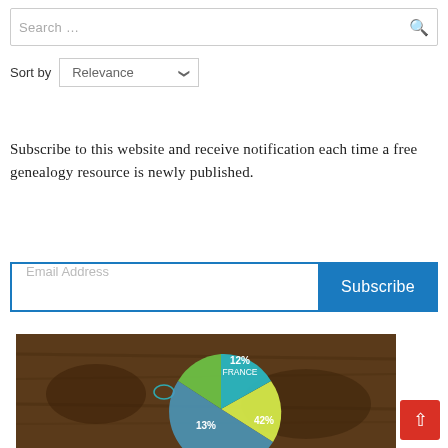[Figure (screenshot): Search input box with placeholder 'Search ...' and a magnifying glass icon on the right]
Sort by  Relevance
Subscribe to this website and receive notification each time a free genealogy resource is newly published.
[Figure (screenshot): Email address input field with placeholder 'Email Address' and a blue 'Subscribe' button]
[Figure (pie-chart): Partial pie chart on a dark wood map background showing segments: 12% FRANCE, 13% (unlabeled), 42% (unlabeled)]